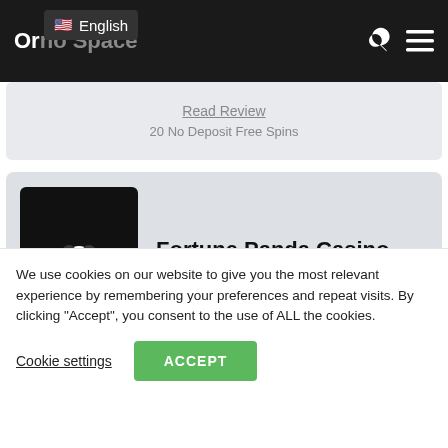Or... no Space — English (language selector)
Read Review
20 No Deposit Free Spins
[Figure (logo): Fortune Panda Casino logo — black square with green panda icon and FORTUNE PANDA text]
Fortune Panda Casino
★★★½☆ (3.5 out of 5 stars)
We use cookies on our website to give you the most relevant experience by remembering your preferences and repeat visits. By clicking "Accept", you consent to the use of ALL the cookies.
Cookie settings   ACCEPT